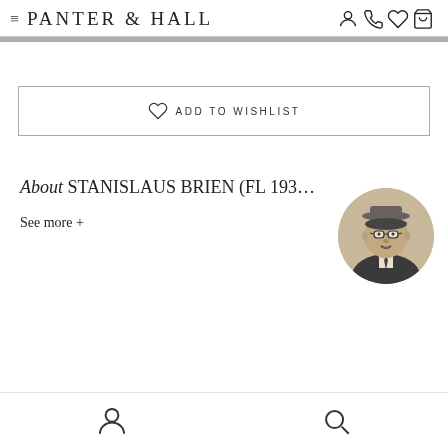PANTER & HALL
ADD TO WISHLIST
[Figure (photo): Circular black-and-white portrait photo of Stanislaus Brien, a man wearing glasses and a suit with tie, with a hat.]
About STANISLAUS BRIEN (FL 1930...)
See more +